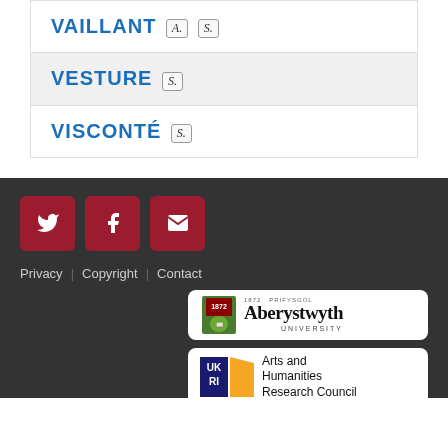VAILLANT A. S.
VESTURE S.
VISCONTÉ S.
Privacy | Copyright | Contact
[Figure (logo): Aberystwyth University logo: shield crest with 1872 PRIFYSGOL ABERYSTWYTH UNIVERSITY]
[Figure (logo): UKRI Arts and Humanities Research Council logo]